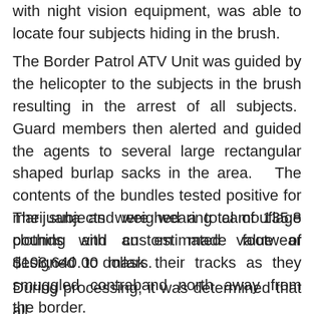with night vision equipment, was able to locate four subjects hiding in the brush.
The Border Patrol ATV Unit was guided by the helicopter to the subjects in the brush resulting in the arrest of all subjects.  Guard members then alerted and guided the agents to several large rectangular shaped burlap sacks in the area.  The contents of the bundles tested positive for marijuana and weighed a total of 135.8 pounds with an estimated value of $108,640.00 dollars.
The subjects were wearing camouflage clothing and custom made footwear designed to mask their tracks as they smuggled contraband north away from the border.
During processing, it was determined that all